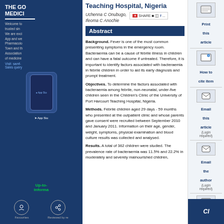Teaching Hospital, Nigeria
Uchenna C Onubugo, Ifeoma C Anochie
Abstract
Background. Fever is one of the most common presenting symptoms in the emergency room. Bacteraemia can be a cause of febrile illness in children and can have a fatal outcome if untreated. Therefore, it is important to identify factors associated with bacteraemia in febrile children in order to aid its early diagnosis and prompt treatment.
Objectives. To determine the factors associated with bacteraemia among febrile, non-neonatal, under-five children seen in the Children's Clinic of the University of Port Harcourt Teaching Hospital, Nigeria.
Methods. Febrile children aged 29 days - 59 months who presented at the outpatient clinic and whose parents gave consent were recruited between September 2010 and January 2011. Information on their age, gender, weight, symptoms, physical examination and blood culture results was collected and analysed.
Results. A total of 362 children were studied. The prevalence rate of bacteraemia was 11.5% and 22.2% in moderately and severely malnourished children, respectively (p=0.010)